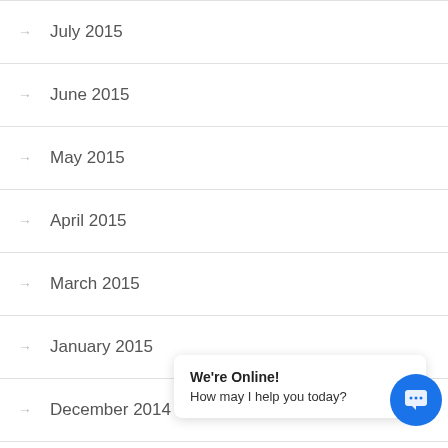July 2015
June 2015
May 2015
April 2015
March 2015
January 2015
December 2014
November 2014
October 2014
September 2014
We're Online! How may I help you today?